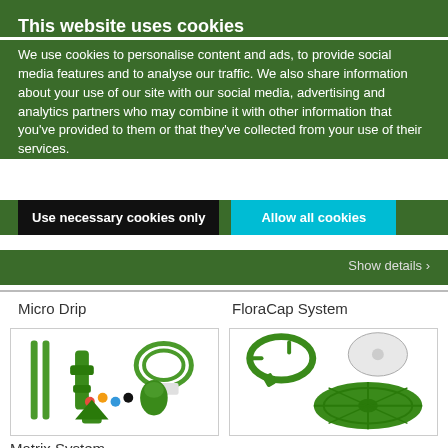This website uses cookies
We use cookies to personalise content and ads, to provide social media features and to analyse our traffic. We also share information about your use of our site with our social media, advertising and analytics partners who may combine it with other information that you've provided to them or that they've collected from your use of their services.
Use necessary cookies only
Allow all cookies
Show details
Micro Drip
[Figure (photo): Green micro drip irrigation system components including stakes, connectors, tubing coil, colored drippers, nozzle head and spray emitter]
FloraCap System
[Figure (photo): Green FloraCap system components including a ring clip, a circular disc label, and a large round base plate with segmented slots and center hole]
Matrix System